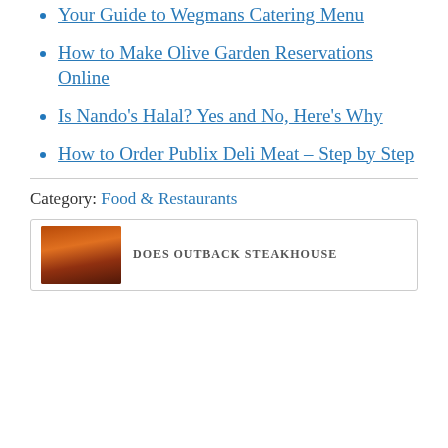Your Guide to Wegmans Catering Menu
How to Make Olive Garden Reservations Online
Is Nando's Halal? Yes and No, Here's Why
How to Order Publix Deli Meat – Step by Step
Category: Food & Restaurants
[Figure (photo): Photo of a restaurant building exterior at dusk with warm lighting, partially cropped at bottom of page]